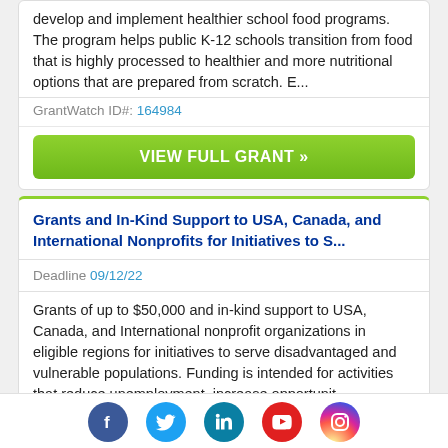develop and implement healthier school food programs. The program helps public K-12 schools transition from food that is highly processed to healthier and more nutritional options that are prepared from scratch. E...
GrantWatch ID#: 164984
VIEW FULL GRANT »
Grants and In-Kind Support to USA, Canada, and International Nonprofits for Initiatives to S...
Deadline 09/12/22
Grants of up to $50,000 and in-kind support to USA, Canada, and International nonprofit organizations in eligible regions for initiatives to serve disadvantaged and vulnerable populations. Funding is intended for activities that reduce unemployment, increase opportunit...
[Figure (infographic): Social media icons: Facebook (blue circle), Twitter (light blue circle), LinkedIn (teal circle), YouTube (red circle), Instagram (gradient circle)]